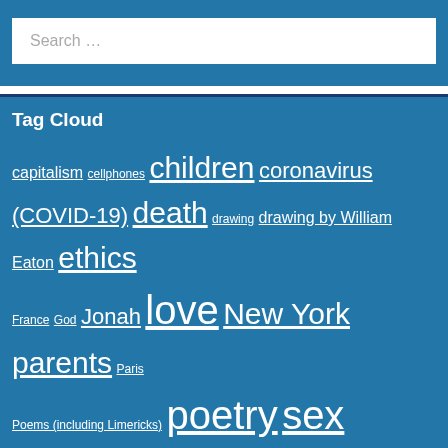Search …
Tag Cloud
capitalism
cellphones
children
coronavirus (COVID-19)
death
drawing
drawing by William Eaton
ethics
France
God
Jonah
love
New York
parents
Paris
Poems (including Limericks)
poetry
sex (more or less)
women
writing